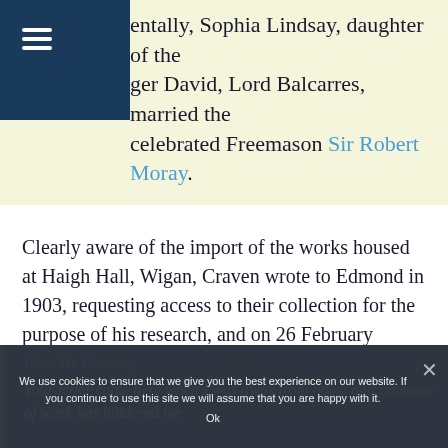entally, Sophia Lindsay, daughter of the ger David, Lord Balcarres, married the celebrated Freemason Sir Robert Moray.
Clearly aware of the import of the works housed at Haigh Hall, Wigan, Craven wrote to Edmond in 1903, requesting access to their collection for the purpose of his research, and on 26 February received a reply:
We use cookies to ensure that we give you the best experience on our website. If you continue to use this site we will assume that you are happy with it. Ok
Dear Mr. Craven, Your letter came here when I was away from home and pressure of work has hindered me